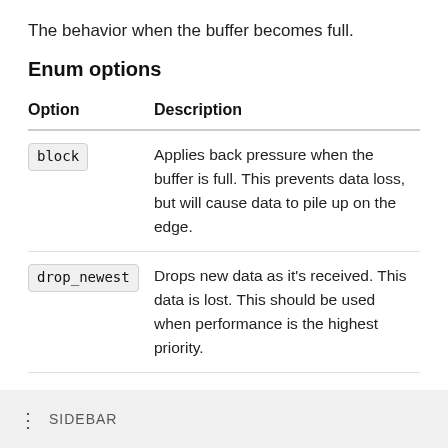The behavior when the buffer becomes full.
Enum options
| Option | Description |
| --- | --- |
| block | Applies back pressure when the buffer is full. This prevents data loss, but will cause data to pile up on the edge. |
| drop_newest | Drops new data as it’s received. This data is lost. This should be used when performance is the highest priority. |
|  | default: block |
SIDEBAR